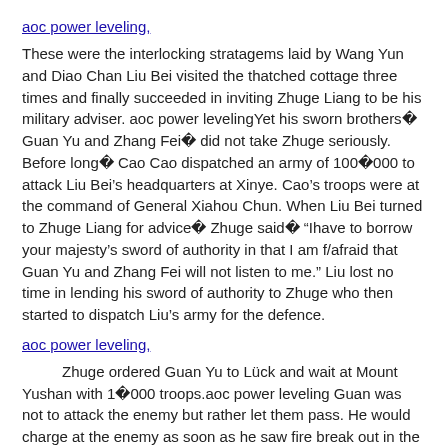aoc power leveling,
These were the interlocking stratagems laid by Wang Yun and Diao Chan Liu Bei visited the thatched cottage three times and finally succeeded in inviting Zhuge Liang to be his military adviser. aoc power levelingYet his sworn brothers� Guan Yu and Zhang Fei� did not take Zhuge seriously. Before long� Cao Cao dispatched an army of 100�000 to attack Liu Bei’s headquarters at Xinye. Cao’s troops were at the command of General Xiahou Chun. When Liu Bei turned to Zhuge Liang for advice� Zhuge said� "Ihave to borrow your majesty’s sword of authority in that I am f/afraid that Guan Yu and Zhang Fei will not listen to me." Liu lost no time in lending his sword of authority to Zhuge who then started to dispatch Liu’s army for the defence.
aoc power leveling,
Zhuge ordered Guan Yu to Lück and wait at Mount Yushan with 1�000 troops.aoc power leveling Guan was not to attack the enemy but rather let them pass. He would charge at the enemy as soon as he saw fire break out in the enemy procession. Zhang Fei was ordered to Lürk and wait in the valley with another 1�000 troops. Zhang was to attack the town of Bowang as soon as he saw fire break out in the enemy